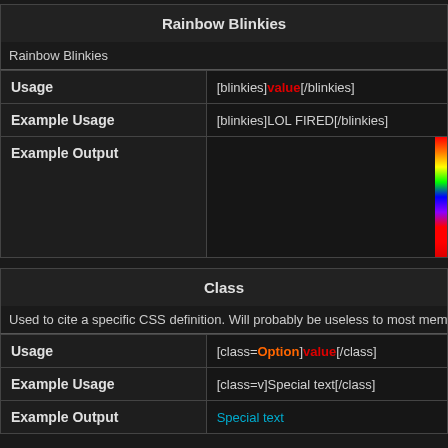Rainbow Blinkies
Rainbow Blinkies
|  |  |
| --- | --- |
| Usage | [blinkies]value[/blinkies] |
| Example Usage | [blinkies]LOL FIRED[/blinkies] |
| Example Output |  |
Class
Used to cite a specific CSS definition. Will probably be useless to most members, but is u
|  |  |
| --- | --- |
| Usage | [class=Option]value[/class] |
| Example Usage | [class=v]Special text[/class] |
| Example Output | Special text |